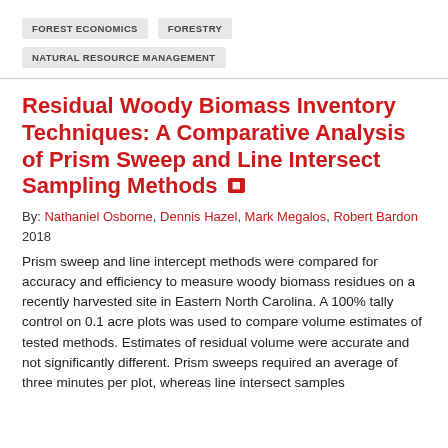FOREST ECONOMICS   FORESTRY   NATURAL RESOURCE MANAGEMENT
Residual Woody Biomass Inventory Techniques: A Comparative Analysis of Prism Sweep and Line Intersect Sampling Methods
By: Nathaniel Osborne, Dennis Hazel, Mark Megalos, Robert Bardon
2018
Prism sweep and line intercept methods were compared for accuracy and efficiency to measure woody biomass residues on a recently harvested site in Eastern North Carolina. A 100% tally control on 0.1 acre plots was used to compare volume estimates of tested methods. Estimates of residual volume were accurate and not significantly different. Prism sweeps required an average of three minutes per plot, whereas line intersect samples